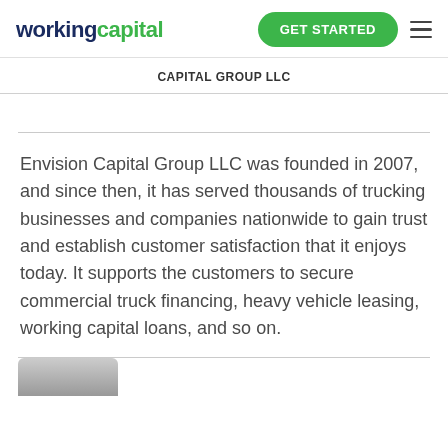workingcapital | GET STARTED
CAPITAL GROUP LLC
Envision Capital Group LLC was founded in 2007, and since then, it has served thousands of trucking businesses and companies nationwide to gain trust and establish customer satisfaction that it enjoys today. It supports the customers to secure commercial truck financing, heavy vehicle leasing, working capital loans, and so on.